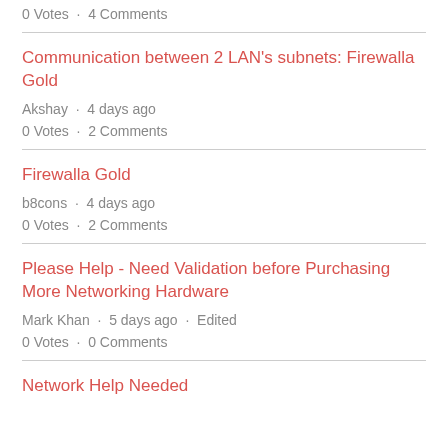0 Votes · 4 Comments
Communication between 2 LAN's subnets: Firewalla Gold
Akshay · 4 days ago
0 Votes · 2 Comments
Firewalla Gold
b8cons · 4 days ago
0 Votes · 2 Comments
Please Help - Need Validation before Purchasing More Networking Hardware
Mark Khan · 5 days ago · Edited
0 Votes · 0 Comments
Network Help Needed